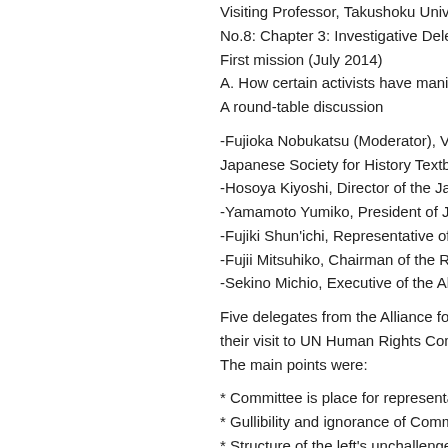written and edited by Fujioka Nobukatsu, Visiting Professor, Takushoku University
No.8: Chapter 3: Investigative Delegation
First mission (July 2014)
A. How certain activists have manipulated
A round-table discussion
-Fujioka Nobukatsu (Moderator), Visiting Professor, Japanese Society for History Textbook Reform
-Hosoya Kiyoshi, Director of the Japan...
-Yamamoto Yumiko, President of Japan...
-Fujiki Shun'ichi, Representative of th...
-Fujii Mitsuhiko, Chairman of the Rom...
-Sekino Michio, Executive of the Allia...
Five delegates from the Alliance for T... their visit to UN Human Rights Comm... The main points were:
* Committee is place for representativ...
* Gullibility and ignorance of Committ...
* Structure of the left's unchallenged...
* Exclusion of non-abling alliance...